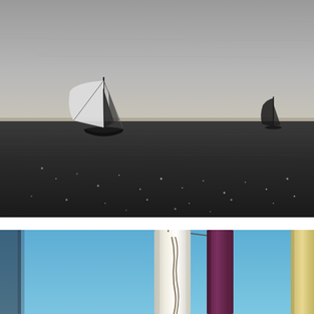[Figure (photo): Black and white photograph of two sailboats on a calm ocean. The larger sailboat on the left has prominent sails billowing in the wind. A smaller sailboat is visible on the far right horizon. The ocean surface reflects glints of light. The sky is overcast and grey, occupying roughly the top half of the image.]
[Figure (photo): Partial color photograph showing industrial or marina equipment against a bright blue sky. Visible are white cylindrical tanks or buoys, a reddish-purple vertical structure, and a pale yellow post or mast. The bottom portion of the image is cut off.]